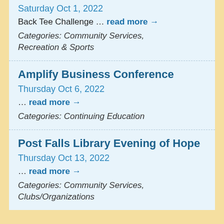Saturday Oct 1, 2022
Back Tee Challenge … read more →
Categories: Community Services, Recreation & Sports
Amplify Business Conference
Thursday Oct 6, 2022
… read more →
Categories: Continuing Education
Post Falls Library Evening of Hope
Thursday Oct 13, 2022
… read more →
Categories: Community Services, Clubs/Organizations